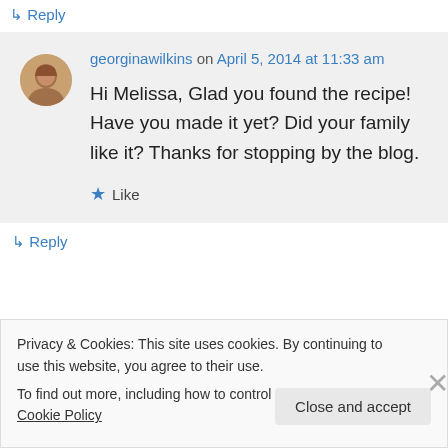↳ Reply
georginawilkins on April 5, 2014 at 11:33 am
Hi Melissa, Glad you found the recipe! Have you made it yet? Did your family like it? Thanks for stopping by the blog.
★ Like
↳ Reply
Privacy & Cookies: This site uses cookies. By continuing to use this website, you agree to their use.
To find out more, including how to control cookies, see here: Cookie Policy
Close and accept